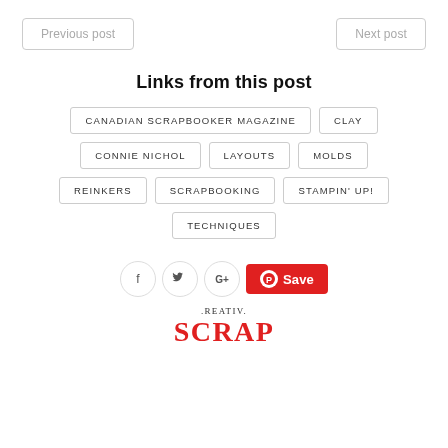Previous post
Next post
Links from this post
CANADIAN SCRAPBOOKER MAGAZINE
CLAY
CONNIE NICHOL
LAYOUTS
MOLDS
REINKERS
SCRAPBOOKING
STAMPIN' UP!
TECHNIQUES
[Figure (other): Social sharing icons: Facebook (f), Twitter (bird), Google+, and a red Pinterest Save button]
.REATIV. SCRAP